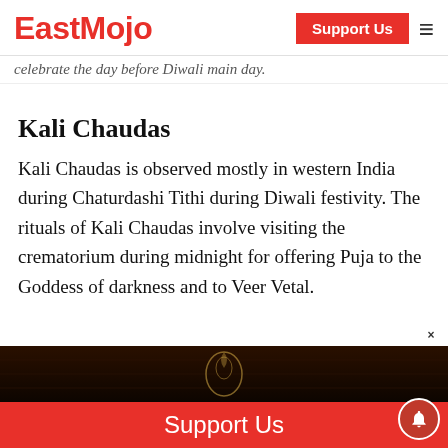EastMojo | Support Us
...celebrate the day before Diwali main day.
Kali Chaudas
Kali Chaudas is observed mostly in western India during Chaturdashi Tithi during Diwali festivity. The rituals of Kali Chaudas involve visiting the crematorium during midnight for offering Puja to the Goddess of darkness and to Veer Vetal.
[Figure (photo): Dark decorative image strip with golden paisley motif]
Support Us